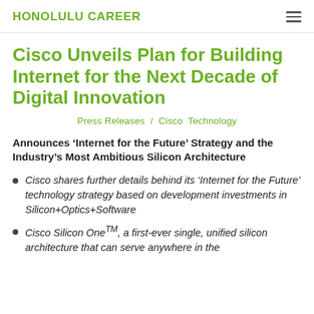HONOLULU CAREER
Cisco Unveils Plan for Building Internet for the Next Decade of Digital Innovation
Press Releases / Cisco Technology
Announces ‘Internet for the Future’ Strategy and the Industry’s Most Ambitious Silicon Architecture
Cisco shares further details behind its ‘Internet for the Future’ technology strategy based on development investments in Silicon+Optics+Software
Cisco Silicon One™, a first-ever single, unified silicon architecture that can serve anywhere in the